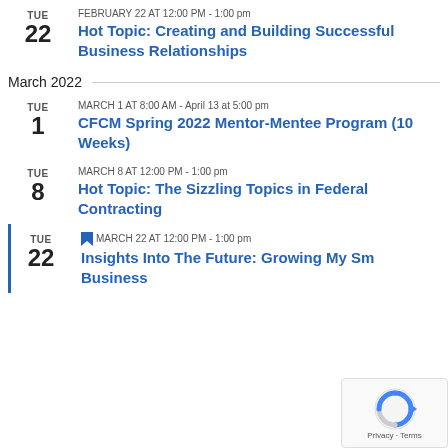TUE 22 | FEBRUARY 22 AT 12:00 PM - 1:00 pm | Hot Topic: Creating and Building Successful Business Relationships
March 2022
TUE 1 | MARCH 1 AT 8:00 AM - April 13 at 5:00 pm | CFCM Spring 2022 Mentor-Mentee Program (10 Weeks)
TUE 8 | MARCH 8 AT 12:00 PM - 1:00 pm | Hot Topic: The Sizzling Topics in Federal Contracting
TUE 22 | MARCH 22 AT 12:00 PM - 1:00 pm | Insights Into The Future: Growing My Small Business